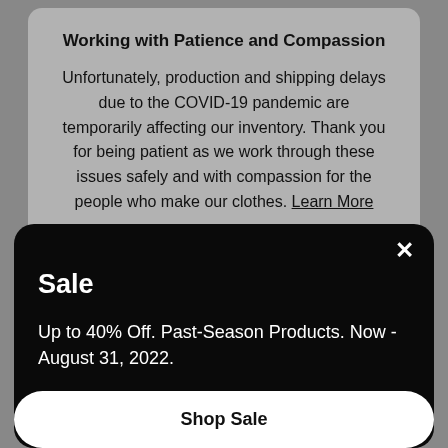Working with Patience and Compassion
Unfortunately, production and shipping delays due to the COVID-19 pandemic are temporarily affecting our inventory. Thank you for being patient as we work through these issues safely and with compassion for the people who make our clothes. Learn More
Sale
Up to 40% Off. Past-Season Products. Now - August 31, 2022.
Shop Sale